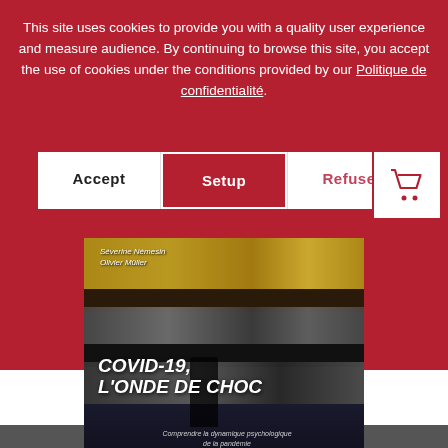This site uses cookies to provide you with a quality user experience and measure audience. By continuing to browse this site, you accept the use of cookies under the conditions provided by our Politique de confidentialité.
Accept
Setup
Refuse
[Figure (illustration): Book cover for 'COVID-19, L'ONDE DE CHOC' by Séverine Némesin and Olivier Müller, showing blurred library shelves with overlaid bold italic title text and subtitle 'Comprendre la dynamique psychologique de la pandémie']
Stay tuned to all our news
Adresse email (obligatoire)
politique de confidentialité *
Subscribe
ou
Choisir les détails